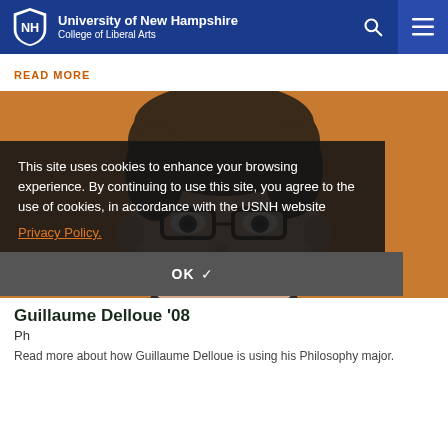University of New Hampshire College of Liberal Arts
READ MORE
[Figure (photo): Headshot of Guillaume Delloue against an orange background, wearing dark-rimmed glasses]
This site uses cookies to enhance your browsing experience. By continuing to use this site, you agree to the use of cookies, in accordance with the USNH website Privacy Policy.
OK ✓
Guillaume Delloue '08
Ph
Read more about how Guillaume Delloue is using his Philosophy major.